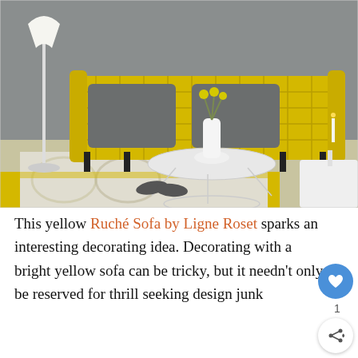[Figure (photo): Interior design photo showing a yellow quilted/woven Ruché sofa by Ligne Roset with grey cushions, a round white wire coffee table with flowers in a vase, a floor lamp, decorative accessories, and a patterned grey and yellow rug on the floor.]
This yellow Ruché Sofa by Ligne Roset sparks an interesting decorating idea. Decorating with a bright yellow sofa can be tricky, but it needn't only be reserved for thrill seeking design junkies. The styling of this photo speaks to those with a